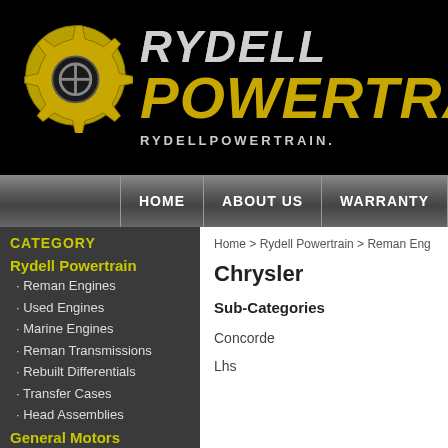[Figure (logo): Rydell Powertrain logo with yellow gear icon on black background, text reads RYDELL POWERTRAIN and RYDELLPOWERTRAIN.]
HOME | ABOUT US | WARRANTY
CATEGORY
Rydell Powertrain
· Reman Engines
· Used Engines
· Marine Engines
· Reman Transmissions
· Rebuilt Differentials
· Transfer Cases
· Head Assemblies
General Motors Powertrain
· General Motors Engines
· General Motors Transmissions
Home > Rydell Powertrain > Reman Eng
Chrysler
Sub-Categories
Concorde
Lhs